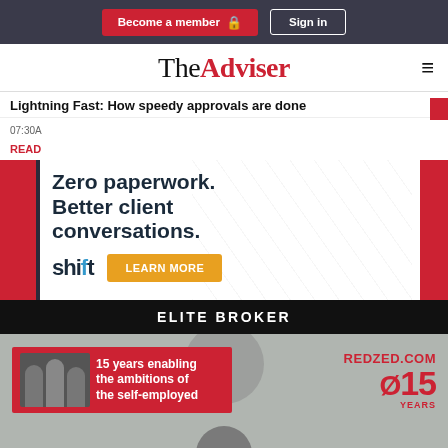Become a member | Sign in
The Adviser
Lightning Fast: How speedy approvals are done
07:30A
READ
[Figure (advertisement): Shift ad: Zero paperwork. Better client conversations. shift [logo] LEARN MORE button]
ELITE BROKER
[Figure (advertisement): RedZed ad: 15 years enabling the ambitions of the self-employed. REDZED.COM 15 YEARS logo. People shown in black and white photo.]